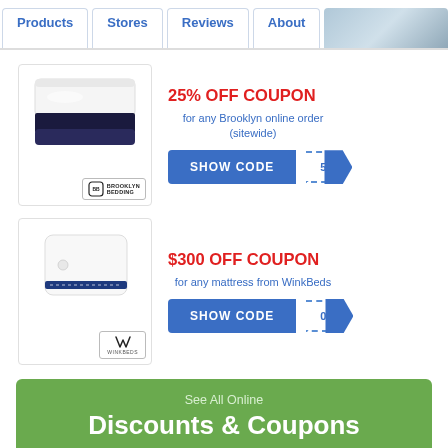Products | Stores | Reviews | About
[Figure (illustration): Brooklyn Bedding mattress product image with BB Brooklyn Bedding logo]
25% OFF COUPON
for any Brooklyn online order (sitewide)
SHOW CODE
[Figure (illustration): WinkBeds mattress product image with WinkBeds logo]
$300 OFF COUPON
for any mattress from WinkBeds
SHOW CODE
See All Online
Discounts & Coupons